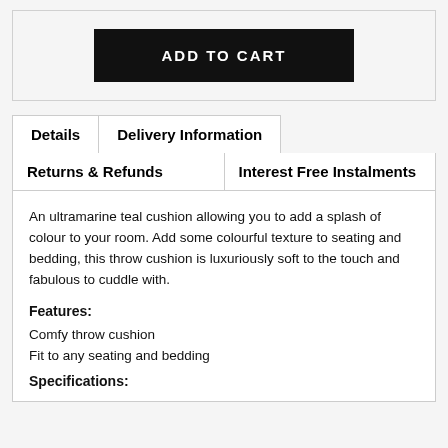[Figure (other): ADD TO CART button — black rectangle with white bold uppercase text]
Details
Delivery Information
Returns & Refunds
Interest Free Instalments
An ultramarine teal cushion allowing you to add a splash of colour to your room. Add some colourful texture to seating and bedding, this throw cushion is luxuriously soft to the touch and fabulous to cuddle with.
Features:
Comfy throw cushion
Fit to any seating and bedding
Specifications: